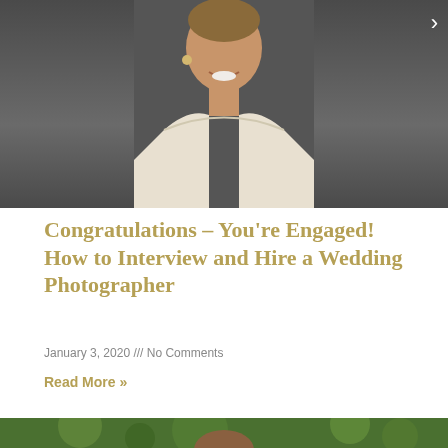[Figure (photo): Top portion of a bride smiling, wearing a white lace strapless dress and earrings, against a dark background. A navigation arrow (>) is visible in the top right corner.]
Congratulations – You're Engaged! How to Interview and Hire a Wedding Photographer
January 3, 2020 /// No Comments
Read More »
[Figure (photo): Bottom portion of page showing a man with a shaved head in a blurred green outdoor/nature background with bokeh lighting.]